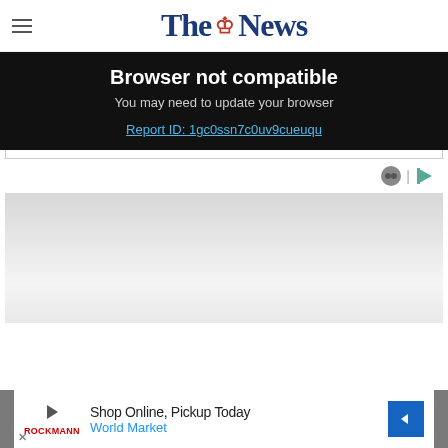The News
Browser not compatible
You may need to update your browser
Report ID: 1gc0ssn7c0uv9cueuqu
[Figure (other): Gray gradient placeholder image area]
Shop Online, Pickup Today World Market